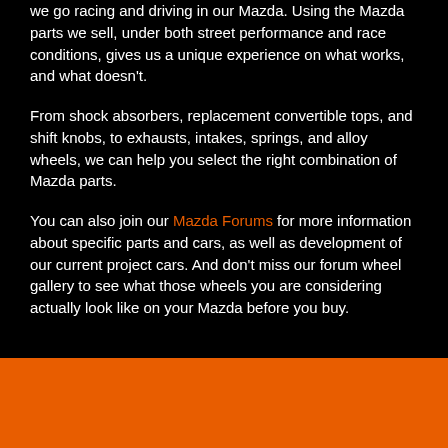we go racing and driving in our Mazda. Using the Mazda parts we sell, under both street performance and race conditions, gives us a unique experience on what works, and what doesn't.
From shock absorbers, replacement convertible tops, and shift knobs, to exhausts, intakes, springs, and alloy wheels, we can help you select the right combination of Mazda parts.
You can also join our Mazda Forums for more information about specific parts and cars, as well as development of our current project cars. And don't miss our forum wheel gallery to see what those wheels you are considering actually look like on your Mazda before you buy.